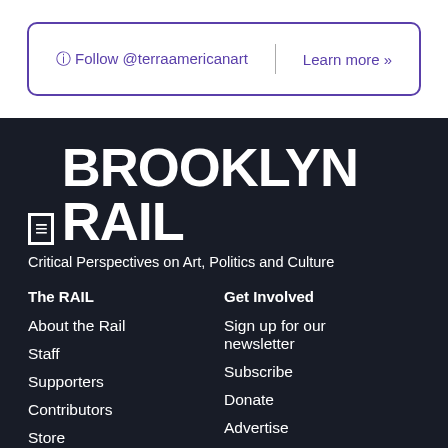Follow @terraamericanart | Learn more »
[Figure (logo): The Brooklyn Rail logo — bold white text on dark background with THE in a box]
Critical Perspectives on Art, Politics and Culture
The RAIL
About the Rail
Staff
Supporters
Contributors
Store
Get Involved
Sign up for our newsletter
Subscribe
Donate
Advertise